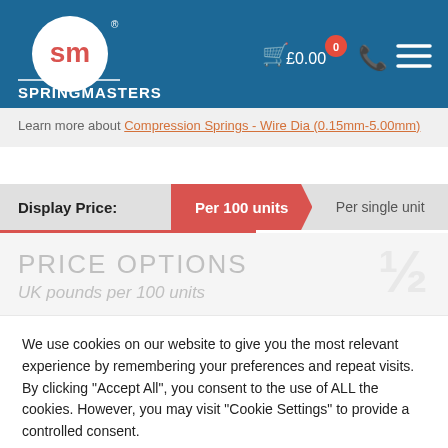[Figure (logo): Springmasters logo with SM monogram in a circle on a dark blue header background, with cart icon showing £0.00, badge 0, phone icon, and hamburger menu icon]
Learn more about Compression Springs - Wire Dia (0.15mm-5.00mm)
Display Price: Per 100 units | Per single unit
PRICE OPTIONS
UK pounds per 100 units
We use cookies on our website to give you the most relevant experience by remembering your preferences and repeat visits. By clicking "Accept All", you consent to the use of ALL the cookies. However, you may visit "Cookie Settings" to provide a controlled consent.
Cookie Settings | Accept All